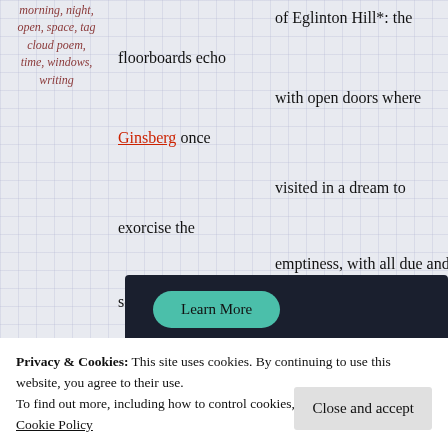morning, night, open, space, tag cloud poem, time, windows, writing
of Eglinton Hill*: the floorboards echo with open doors where Ginsberg once visited in a dream to exorcise the emptiness, with all due and sober
[Figure (screenshot): Dark banner with teal 'Learn More' button]
Privacy & Cookies: This site uses cookies. By continuing to use this website, you agree to their use.
To find out more, including how to control cookies, see here:
Cookie Policy
Close and accept